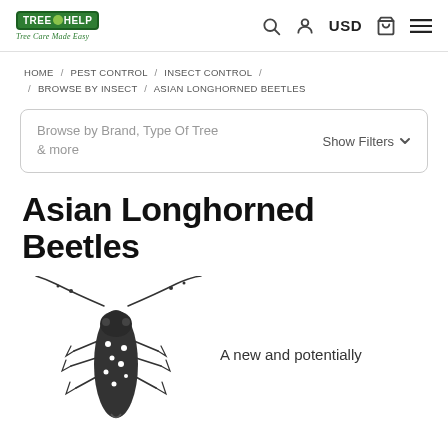TREEHELP - Tree Care Made Easy | USD
HOME / PEST CONTROL / INSECT CONTROL / BROWSE BY INSECT / ASIAN LONGHORNED BEETLES
Browse by Brand, Type Of Tree & more   Show Filters
Asian Longhorned Beetles
[Figure (illustration): Black and white illustration of an Asian Longhorned Beetle with long antennae and spotted body]
A new and potentially